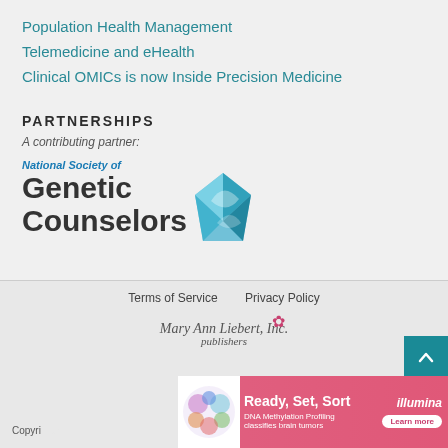Population Health Management
Telemedicine and eHealth
Clinical OMICs is now Inside Precision Medicine
PARTNERSHIPS
A contributing partner:
[Figure (logo): National Society of Genetic Counselors logo with teal diamond geometric icon]
Terms of Service   Privacy Policy
[Figure (logo): Mary Ann Liebert, Inc. publishers logo in cursive script]
Copyright ... All
[Figure (infographic): Illumina advertisement: Ready, Set, Sort - DNA Methylation Profiling classifies brain tumors - Learn more]